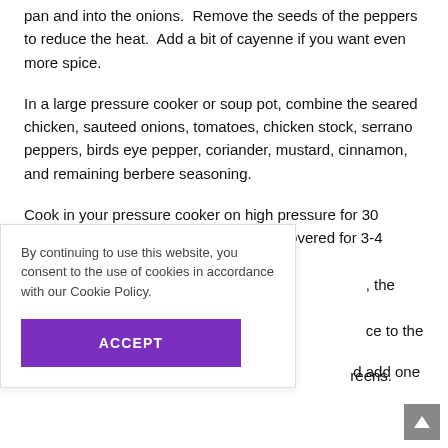pan and into the onions.  Remove the seeds of the peppers to reduce the heat.  Add a bit of cayenne if you want even more spice.
In a large pressure cooker or soup pot, combine the seared chicken, sauteed onions, tomatoes, chicken stock, serrano peppers, birds eye pepper, coriander, mustard, cinnamon, and remaining berbere seasoning.
Cook in your pressure cooker on high pressure for 30 minutes, or if using a soup pot simmer covered for 3-4 hours.  If using a [pressure cooker], the stew [will reduce], ce to the [stew].
d add one
reens.
By continuing to use this website, you consent to the use of cookies in accordance with our Cookie Policy.